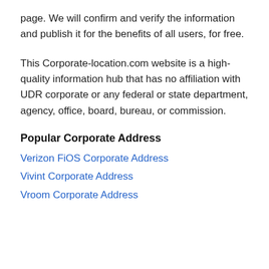page. We will confirm and verify the information and publish it for the benefits of all users, for free.
This Corporate-location.com website is a high-quality information hub that has no affiliation with UDR corporate or any federal or state department, agency, office, board, bureau, or commission.
Popular Corporate Address
Verizon FiOS Corporate Address
Vivint Corporate Address
Vroom Corporate Address